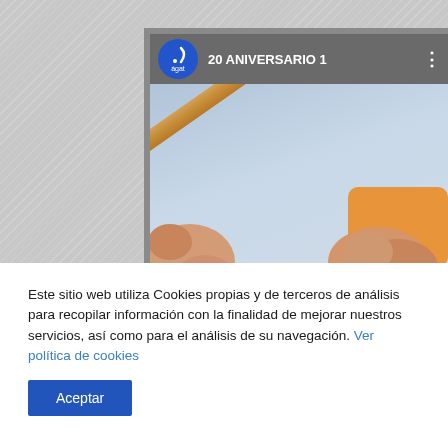[Figure (screenshot): Screenshot of a video player interface showing a YouTube-style video titled '20 ANIVERSARIO 1' with an 'agat' channel logo (blue circle with white icon), a three-dot menu, and a video thumbnail showing two hands holding a wooden stick/rod.]
Este sitio web utiliza Cookies propias y de terceros de análisis para recopilar información con la finalidad de mejorar nuestros servicios, así como para el análisis de su navegación. Ver política de cookies
Aceptar